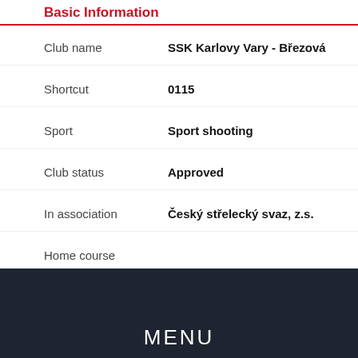Basic Information
| Field | Value |
| --- | --- |
| Club name | SSK Karlovy Vary - Březová |
| Shortcut | 0115 |
| Sport | Sport shooting |
| Club status | Approved |
| In association | Český střelecký svaz, z.s. |
| Home course |  |
Basic In...
Owner
Founde...
Club fo...
Membe...
Cancel...
Back
MENU